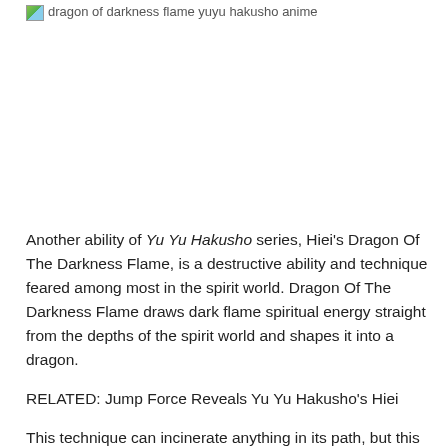[Figure (photo): Broken image placeholder for 'dragon of darkness flame yuyu hakusho anime']
Another ability of Yu Yu Hakusho series, Hiei's Dragon Of The Darkness Flame, is a destructive ability and technique feared among most in the spirit world. Dragon Of The Darkness Flame draws dark flame spiritual energy straight from the depths of the spirit world and shapes it into a dragon.
RELATED: Jump Force Reveals Yu Yu Hakusho's Hiei
This technique can incinerate anything in its path, but this ability is also highly uncontrollable once invoked. During the first use of